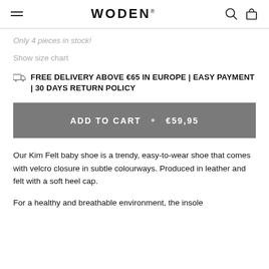WODEN
Only 4 pieces in stock!
Show size chart
FREE DELIVERY ABOVE €65 IN EUROPE | EASY PAYMENT | 30 DAYS RETURN POLICY
ADD TO CART · €59,95
Our Kim Felt baby shoe is a trendy, easy-to-wear shoe that comes with velcro closure in subtle colourways. Produced in leather and felt with a soft heel cap.
For a healthy and breathable environment, the insole